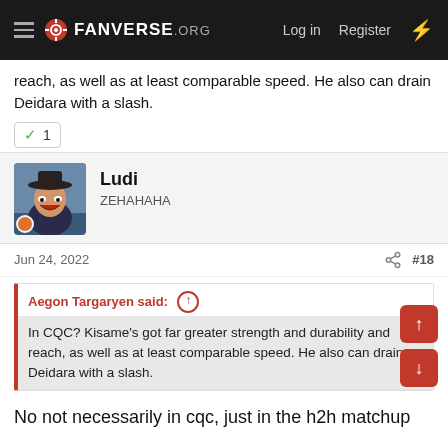FANVERSE.ORG  Log in  Register
reach, as well as at least comparable speed. He also can drain Deidara with a slash.
✓ 1
Ludi
ZEHAHAHA
Jun 24, 2022  #18
Aegon Targaryen said: ↑
In CQC? Kisame's got far greater strength and durability and reach, as well as at least comparable speed. He also can drain Deidara with a slash.
No not necessarily in cqc, just in the h2h matchup